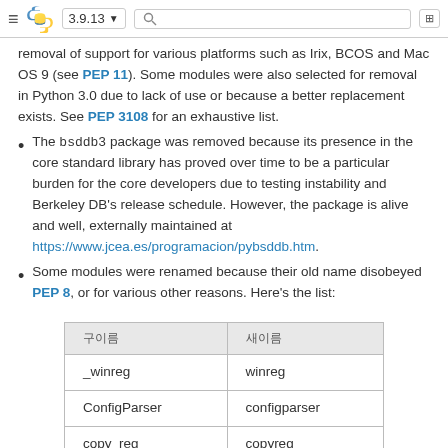≡ [Python logo] 3.9.13 ▼ [search] [icon]
removal of support for various platforms such as Irix, BCOS and Mac OS 9 (see PEP 11). Some modules were also selected for removal in Python 3.0 due to lack of use or because a better replacement exists. See PEP 3108 for an exhaustive list.
The bsddb3 package was removed because its presence in the core standard library has proved over time to be a particular burden for the core developers due to testing instability and Berkeley DB's release schedule. However, the package is alive and well, externally maintained at https://www.jcea.es/programacion/pybsddb.htm.
Some modules were renamed because their old name disobeyed PEP 8, or for various other reasons. Here's the list:
| 구이름 | 새이름 |
| --- | --- |
| _winreg | winreg |
| ConfigParser | configparser |
| copy_reg | copyreg |
| Queue | queue |
| SocketServer | socketserver |